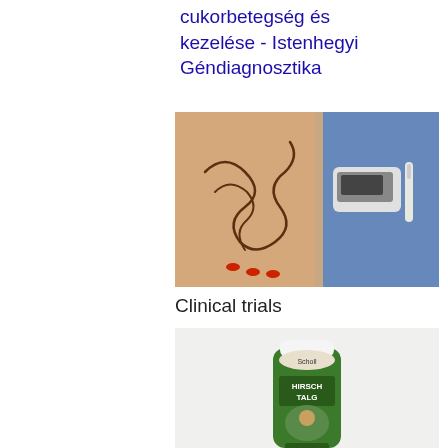cukorbetegség és kezelése - Istenhegyi Géndiagnosztika
[Figure (photo): A person holding their abdomen with intestine drawing on skin, and a doctor holding a blood glucose meter]
Clinical trials
[Figure (photo): Scholl Hirsch Talg cream tube product image]
cikk id név nettó afa bruttó vonalkód 6583 1*1 B-KOMPLEX + ...
[Figure (photo): Blue background with a vial labeled Regular Insulin and a syringe]